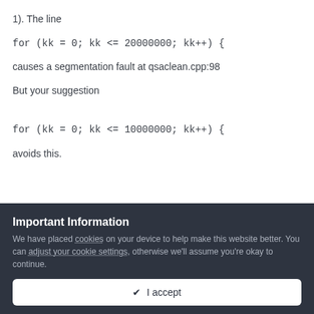1). The line
for (kk = 0; kk <= 20000000; kk++) {
causes a segmentation fault at qsaclean.cpp:98
But your suggestion
for (kk = 0; kk <= 10000000; kk++) {
avoids this.
Important Information
We have placed cookies on your device to help make this website better. You can adjust your cookie settings, otherwise we'll assume you're okay to continue.
✔ I accept